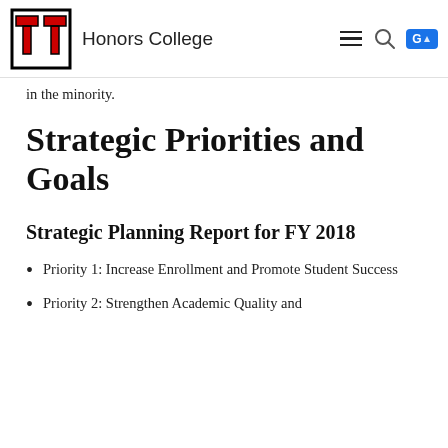Honors College
in the minority.
Strategic Priorities and Goals
Strategic Planning Report for FY 2018
Priority 1: Increase Enrollment and Promote Student Success
Priority 2: Strengthen Academic Quality and